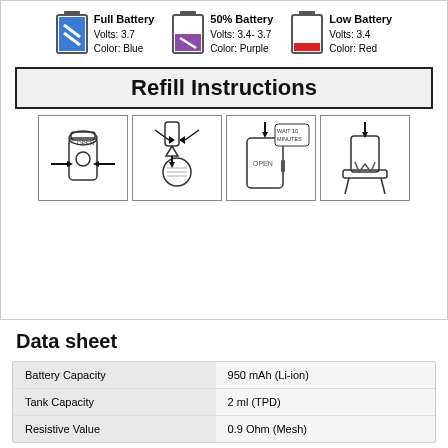[Figure (infographic): Battery indicator icons: Full Battery (Volts: 3.7, Color: Blue), 50% Battery (Volts: 3.4-3.7, Color: Purple), Low Battery (Volts: 3.4, Color: Red)]
Refill Instructions
[Figure (illustration): Four-step refill instruction diagrams showing: 1) Press sides to open device, 2) Remove top cap and fill with dropper, 3) Close and wait 10 minutes, 4) Insert pod back into device]
Data sheet
| Property | Value |
| --- | --- |
| Battery Capacity | 950 mAh (Li-ion) |
| Tank Capacity | 2 ml (TPD) |
| Resistive Value | 0.9 Ohm (Mesh) |